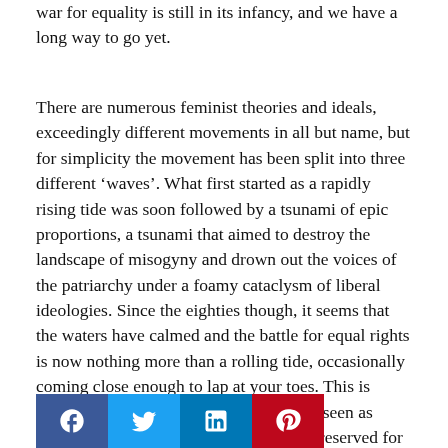war for equality is still in its infancy, and we have a long way to go yet.
There are numerous feminist theories and ideals, exceedingly different movements in all but name, but for simplicity the movement has been split into three different 'waves'. What first started as a rapidly rising tide was soon followed by a tsunami of epic proportions, a tsunami that aimed to destroy the landscape of misogyny and drown out the voices of the patriarchy under a foamy cataclysm of liberal ideologies. Since the eighties though, it seems that the waters have calmed and the battle for equal rights is now nothing more than a rolling tide, occasionally coming close enough to lap at your toes. This is mostly down to the fact that feminism is seen as irrelevant now – an outdated movement reserved for man hating, bra burning lesbia[ns who refuse to] invest in a